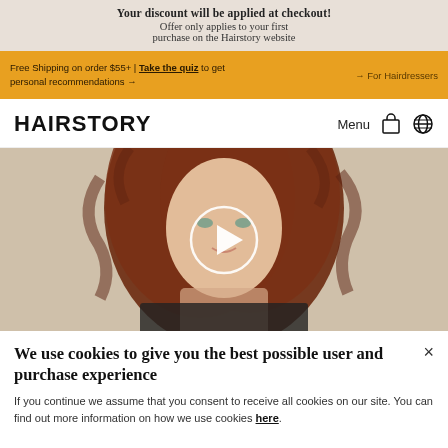Your discount will be applied at checkout!
Offer only applies to your first purchase on the Hairstory website
Free Shipping on order $55+ | Take the quiz to get personal recommendations → → For Hairdressers
HAIRSTORY
Menu
[Figure (photo): A woman with curly red hair in front of a neutral background, with a white circular play button overlay indicating a video thumbnail]
We use cookies to give you the best possible user and purchase experience
If you continue we assume that you consent to receive all cookies on our site. You can find out more information on how we use cookies here.